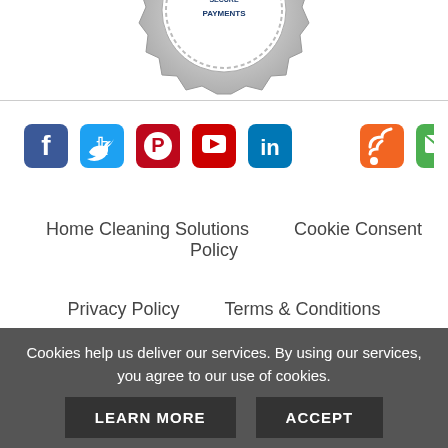[Figure (logo): Secure payments badge/seal, partially cropped at top]
[Figure (infographic): Row of social media icons: Facebook (blue), Twitter (light blue), Pinterest (red), YouTube (red), LinkedIn (blue), RSS (orange), Email (green)]
Home Cleaning Solutions
Cookie Consent Policy
Privacy Policy
Terms & Conditions
[Figure (infographic): Payment method icons: lock, VISA, MasterCard, American Express, Discover, JCB]
100% Secure Payments
Cookies help us deliver our services. By using our services, you agree to our use of cookies.
LEARN MORE
ACCEPT